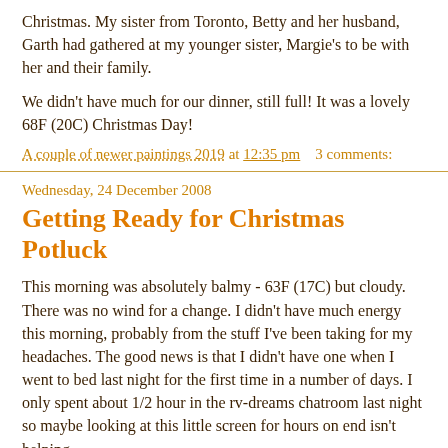Christmas. My sister from Toronto, Betty and her husband, Garth had gathered at my younger sister, Margie's to be with her and their family.
We didn't have much for our dinner, still full! It was a lovely 68F (20C) Christmas Day!
A couple of newer paintings 2019 at 12:35 pm    3 comments:
Wednesday, 24 December 2008
Getting Ready for Christmas Potluck
This morning was absolutely balmy - 63F (17C) but cloudy. There was no wind for a change. I didn't have much energy this morning, probably from the stuff I've been taking for my headaches. The good news is that I didn't have one when I went to bed last night for the first time in a number of days. I only spent about 1/2 hour in the rv-dreams chatroom last night so maybe looking at this little screen for hours on end isn't helping.